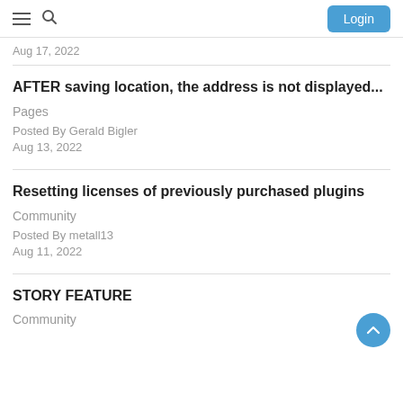Login
Aug 17, 2022
AFTER saving location, the address is not displayed...
Pages
Posted By Gerald Bigler
Aug 13, 2022
Resetting licenses of previously purchased plugins
Community
Posted By metall13
Aug 11, 2022
STORY FEATURE
Community